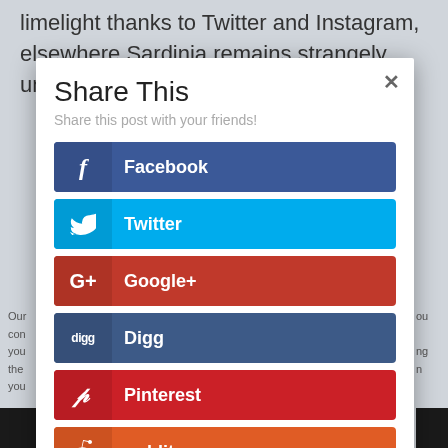limelight thanks to Twitter and Instagram, elsewhere Sardinia remains strangely untouched,
[Figure (screenshot): Share This modal dialog with social sharing buttons for Facebook, Twitter, Google+, Digg, Pinterest, and Reddit]
Our cons you the n your